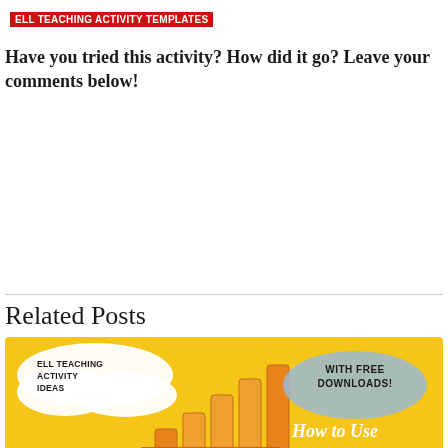ELL TEACHING ACTIVITY TEMPLATES
Have you tried this activity? How did it go? Leave your comments below!
Related Posts
[Figure (infographic): Yellow infographic banner for ELL Teaching Activity Ideas with bar chart graphic and text 'WITH FREE DOWNLOADS!' and 'How to Use']